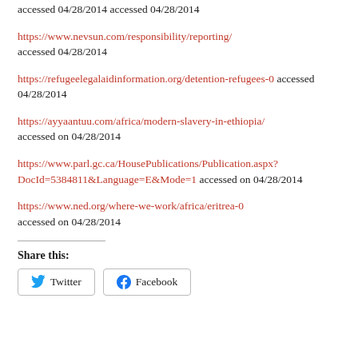accessed 04/28/2014 accessed 04/28/2014
https://www.nevsun.com/responsibility/reporting/ accessed 04/28/2014
https://refugeelegalaidinformation.org/detention-refugees-0 accessed 04/28/2014
https://ayyaantuu.com/africa/modern-slavery-in-ethiopia/ accessed on 04/28/2014
https://www.parl.gc.ca/HousePublications/Publication.aspx?DocId=5384811&Language=E&Mode=1 accessed on 04/28/2014
https://www.ned.org/where-we-work/africa/eritrea-0 accessed on 04/28/2014
Share this:
Twitter Facebook